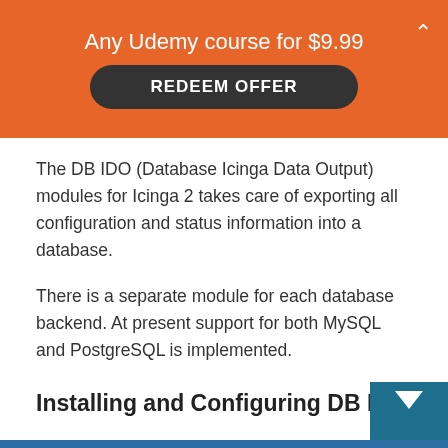Any Udemy course for $9.99 | REDEEM OFFER
The DB IDO (Database Icinga Data Output) modules for Icinga 2 takes care of exporting all configuration and status information into a database.
There is a separate module for each database backend. At present support for both MySQL and PostgreSQL is implemented.
Installing and Configuring DB IDO MySQL
Get the latest Devops news, articles, tips and more!
Your email address..
Shares